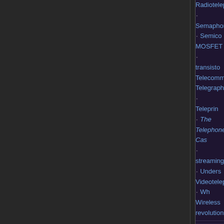Radiotelephone · Semaphore · Semiconductor · MOSFET · transistor · Telecommunications · Telegraphy · Teleprinter · The Telephone Cases · streaming) · Undersea · Videotelephony · Wh· Wireless revolution
Nasir Ahmed · Edwin · Mohamed M. Atalla · Paul Baran · John Ba· Alexander Graham B· Tim Berners-Lee · F· · Jagadish Chandra B· Walter Houser Bratta· Claude Chappe · Yog· Daniel Davis Jr. · Do· Amos Dolbear · Thor· Lee de Forest · Philo· Reginald Fessenden· Oliver Heaviside · Ro· Erna Schneider Hoov· Gardiner Greene Hub· Bob Kahn · Daw·
Pioneers